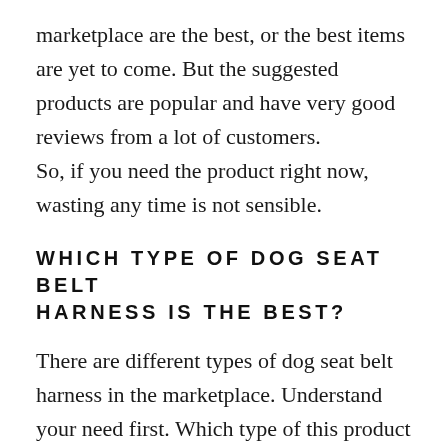marketplace are the best, or the best items are yet to come. But the suggested products are popular and have very good reviews from a lot of customers. So, if you need the product right now, wasting any time is not sensible.
WHICH TYPE OF DOG SEAT BELT HARNESS IS THE BEST?
There are different types of dog seat belt harness in the marketplace. Understand your need first. Which type of this product